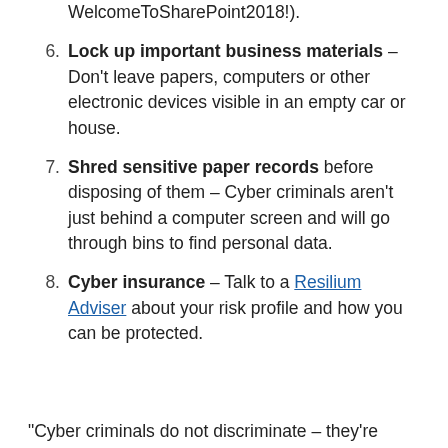(continuation) with numbers or symbols (e.g. WelcomeToSharePoint2018!).
6. Lock up important business materials – Don't leave papers, computers or other electronic devices visible in an empty car or house.
7. Shred sensitive paper records before disposing of them – Cyber criminals aren't just behind a computer screen and will go through bins to find personal data.
8. Cyber insurance – Talk to a Resilium Adviser about your risk profile and how you can be protected.
"Cyber criminals do not discriminate – they're